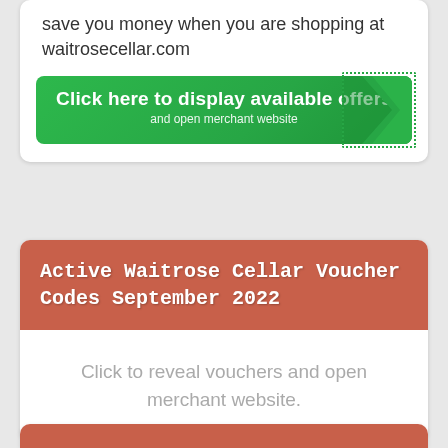save you money when you are shopping at waitrosecellar.com
[Figure (other): Green call-to-action button reading 'Click here to display available offers and open merchant website' with an arrow graphic and dotted border on right side]
Active Waitrose Cellar Voucher Codes September 2022
Click to reveal vouchers and open merchant website.